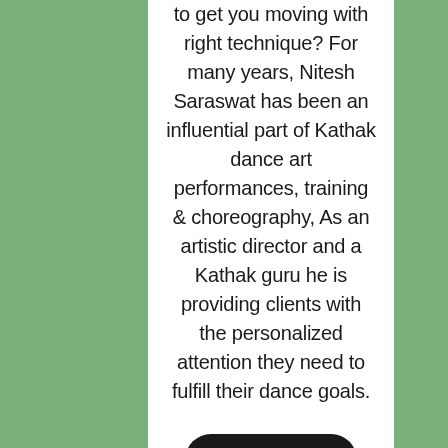to get you moving with right technique? For many years, Nitesh Saraswat has been an influential part of Kathak dance art performances, training & choreography, As an artistic director and a Kathak guru he is providing clients with the personalized attention they need to fulfill their dance goals.
Know more